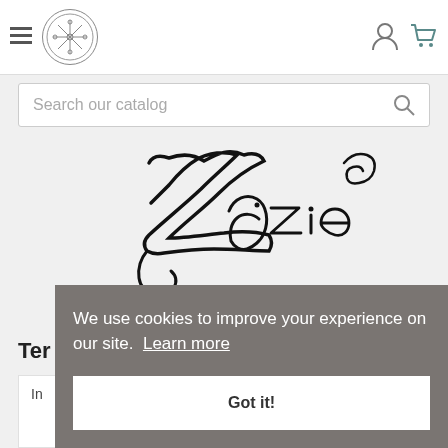[Figure (logo): Hamburger menu icon, circular star/figure logo, person icon and shopping cart icon in header navigation bar]
[Figure (screenshot): Search bar with placeholder text 'Search our catalog' and a magnifying glass icon on the right]
[Figure (logo): Zazie brand logo in decorative cursive/script lettering on light grey background]
Ter
In
We use cookies to improve your experience on our site. Learn more
Got it!